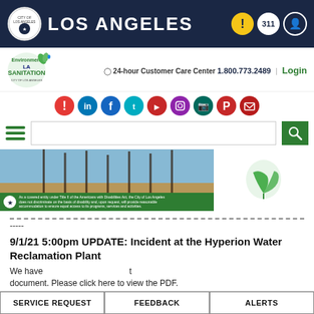LOS ANGELES
[Figure (logo): LA Sanitation logo with phone number and login]
[Figure (infographic): Social media icons row: alert, LinkedIn, Facebook, Twitter, YouTube, Instagram, shop, Pinterest, email]
[Figure (screenshot): Search bar with hamburger menu and green search button]
[Figure (photo): Banner image showing beach/palm trees scene with green plant on right and city of LA seal with ADA notice at bottom]
-----
9/1/21 5:00pm UPDATE: Incident at the Hyperion Water Reclamation Plant
We have  t  document. Please click here to view the PDF.
SERVICE REQUEST   FEEDBACK   ALERTS